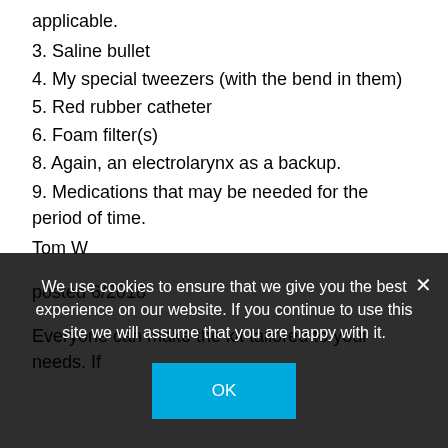applicable.
3. Saline bullet
4. My special tweezers (with the bend in them)
5. Red rubber catheter
6. Foam filter(s)
8. Again, an electrolarynx as a backup.
9. Medications that may be needed for the period of time.
Tom W
posted 6/2018
Everyone can make the kit tailored to your needs. If
We use cookies to ensure that we give you the best experience on our website. If you continue to use this site we will assume that you are happy with it.
OK